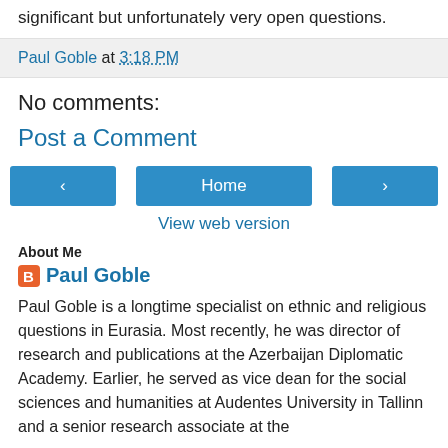significant but unfortunately very open questions.
Paul Goble at 3:18 PM
No comments:
Post a Comment
< Home >
View web version
About Me
Paul Goble
Paul Goble is a longtime specialist on ethnic and religious questions in Eurasia. Most recently, he was director of research and publications at the Azerbaijan Diplomatic Academy. Earlier, he served as vice dean for the social sciences and humanities at Audentes University in Tallinn and a senior research associate at the